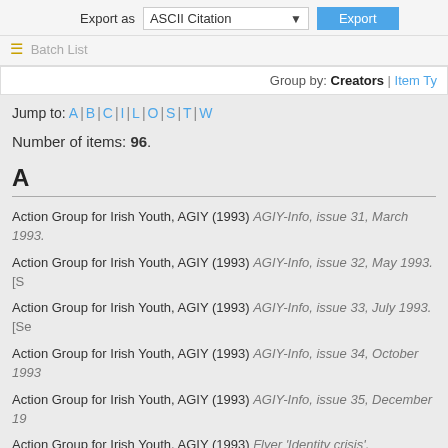Export as  ASCII Citation  Export
Batch List
Group by: Creators | Item Ty...
Jump to: A | B | C | I | L | O | S | T | W
Number of items: 96.
A
Action Group for Irish Youth, AGIY (1993) AGIY-Info, issue 31, March 1993.
Action Group for Irish Youth, AGIY (1993) AGIY-Info, issue 32, May 1993. [S...
Action Group for Irish Youth, AGIY (1993) AGIY-Info, issue 33, July 1993. [Se...
Action Group for Irish Youth, AGIY (1993) AGIY-Info, issue 34, October 1993...
Action Group for Irish Youth, AGIY (1993) AGIY-Info, issue 35, December 19...
Action Group for Irish Youth, AGIY (1993) Flyer 'Identity crisis'. [Ephemera] (...
Action Group for Irish Youth, AGIY (1993) Flyer 'Racial attacks and harassm...
Action Group for Irish Youth, AGIY (1993) Information sheet 'Action Group fo...